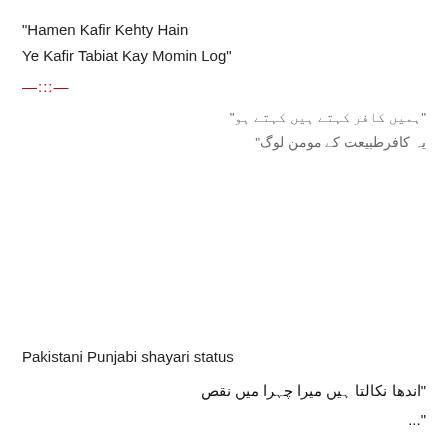"Hamen Kafir Kehty Hain
Ye Kafir Tabiat Kay Momin Log"
—:::—
"ہمیں کافر کہتی ہیں کہتے ہو"
یہ کافرطبیعت کے مومن لوگ"
Pakistani Punjabi shayari status
"اندھا نکالتا ہیں میرا چہرا میں نقص
"...